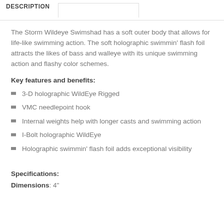DESCRIPTION
The Storm Wildeye Swimshad has a soft outer body that allows for life-like swimming action. The soft holographic swimmin' flash foil attracts the likes of bass and walleye with its unique swimming action and flashy color schemes.
Key features and benefits:
3-D holographic WildEye Rigged
VMC needlepoint hook
Internal weights help with longer casts and swimming action
I-Bolt holographic WildEye
Holographic swimmin' flash foil adds exceptional visibility
Specifications:
Dimensions: 4"